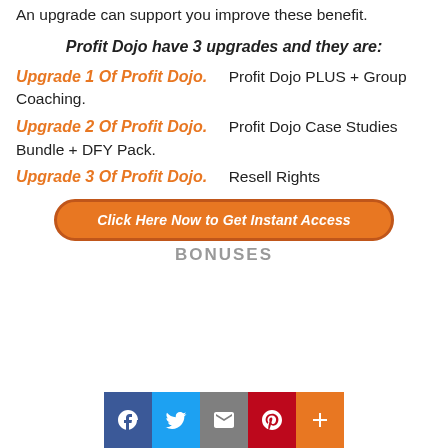An upgrade can support you improve these benefit.
Profit Dojo have 3 upgrades and they are:
Upgrade 1 Of Profit Dojo.   Profit Dojo PLUS + Group Coaching.
Upgrade 2 Of Profit Dojo.   Profit Dojo Case Studies Bundle + DFY Pack.
Upgrade 3 Of Profit Dojo.   Resell Rights
Click Here Now to Get Instant Access
BONUSES
[Figure (other): Social sharing buttons: Facebook, Twitter, Email, Pinterest, and a plus/share button]